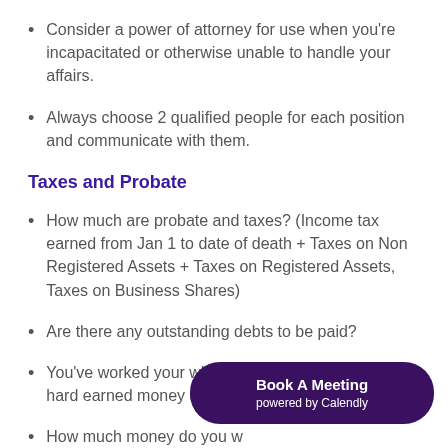Consider a power of attorney for use when you're incapacitated or otherwise unable to handle your affairs.
Always choose 2 qualified people for each position and communicate with them.
Taxes and Probate
How much are probate and taxes? (Income tax earned from Jan 1 to date of death + Taxes on Non Registered Assets + Taxes on Registered Assets, Taxes on Business Shares)
Are there any outstanding debts to be paid?
You've worked your whole life- how much of your hard earned money do you want to give to CRA?
How much money do you want to give to your kids while you're living?